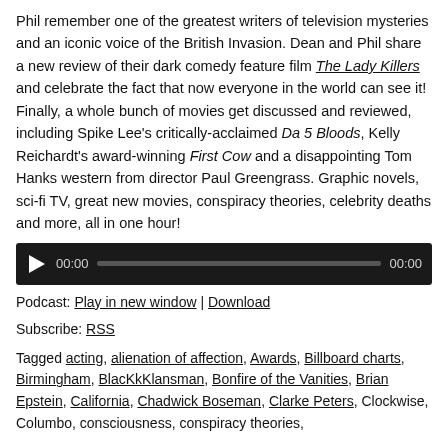Phil remember one of the greatest writers of television mysteries and an iconic voice of the British Invasion. Dean and Phil share a new review of their dark comedy feature film The Lady Killers and celebrate the fact that now everyone in the world can see it! Finally, a whole bunch of movies get discussed and reviewed, including Spike Lee's critically-acclaimed Da 5 Bloods, Kelly Reichardt's award-winning First Cow and a disappointing Tom Hanks western from director Paul Greengrass. Graphic novels, sci-fi TV, great new movies, conspiracy theories, celebrity deaths and more, all in one hour!
[Figure (other): Audio player widget with play button, time display showing 00:00, progress bar, and end time 00:00 on dark background]
Podcast: Play in new window | Download
Subscribe: RSS
Tagged acting, alienation of affection, Awards, Billboard charts, Birmingham, BlacKkKlansman, Bonfire of the Vanities, Brian Epstein, California, Chadwick Boseman, Clarke Peters, Clockwise, Columbo, consciousness, conspiracy theories,